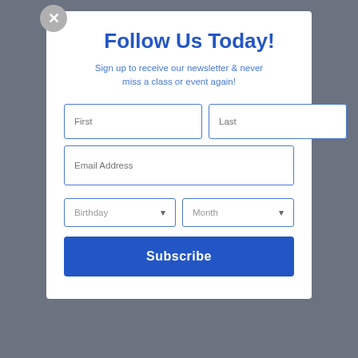[Figure (screenshot): Modal popup overlay on a grey background website page. The modal contains a newsletter signup form with title, subtitle, name fields, email field, birthday/month dropdowns, and a Subscribe button.]
Follow Us Today!
Sign up to receive our newsletter & never miss a class or event again!